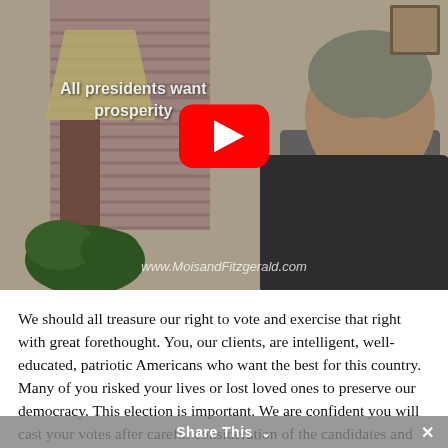[Figure (screenshot): YouTube video thumbnail showing a man in a grey suit and tie sitting at a desk in an office. Text overlay reads 'All presidents want prosperity'. YouTube play button visible in center. Watermark at bottom: www.MoisandFitzgerald.com]
We should all treasure our right to vote and exercise that right with great forethought. You, our clients, are intelligent, well-educated, patriotic Americans who want the best for this country. Many of you risked your lives or lost loved ones to preserve our democracy. This election is important. We are confident you will cast your votes after careful consideration of the candidates and we thank you for that.
Unfortunately, negativity seems to be a cornerstone of many
Share This ∨  ×